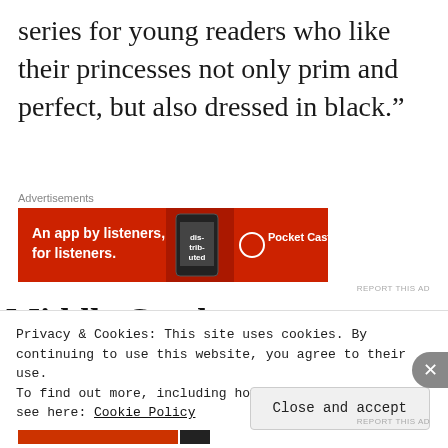series for young readers who like their princesses not only prim and perfect, but also dressed in black.”
Advertisements
[Figure (screenshot): Pocket Casts advertisement banner: red background with text 'An app by listeners, for listeners.' and Pocket Casts logo, with a smartphone image]
Middle Grade:
Privacy & Cookies: This site uses cookies. By continuing to use this website, you agree to their use.
To find out more, including how to control cookies, see here: Cookie Policy
Close and accept